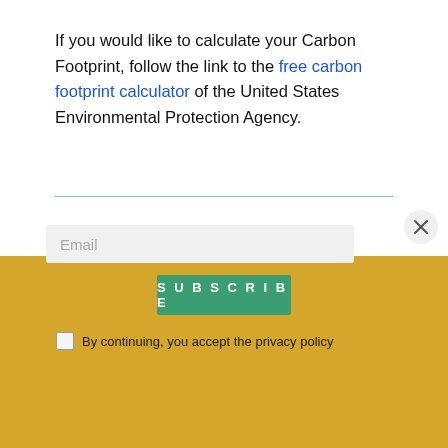If you would like to calculate your Carbon Footprint, follow the link to the free carbon footprint calculator of the United States Environmental Protection Agency.
[Figure (other): Newsletter subscription popup with yellow background, email input field, Subscribe button in green, and privacy policy checkbox]